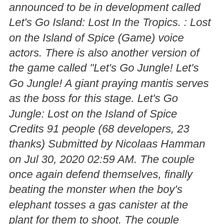announced to be in development called Let's Go Island: Lost In the Tropics. : Lost on the Island of Spice (Game) voice actors. There is also another version of the game called "Let's Go Jungle! Let's Go Jungle! A giant praying mantis serves as the boss for this stage. Let's Go Jungle: Lost on the Island of Spice Credits 91 people (68 developers, 23 thanks) Submitted by Nicolaas Hamman on Jul 30, 2020 02:59 AM. The couple once again defend themselves, finally beating the monster when the boy's elephant tosses a gas canister at the plant for them to shoot. The couple manage to defeat it but knock it into barrels of chemicals which splash on nearby venus fly traps, causing them to grow and become aggressive. Let's Go Jungle! Safe, the boy gives Norah his good luck charm (which seems to protect him) as a parting gift as the rescue copter arrives to